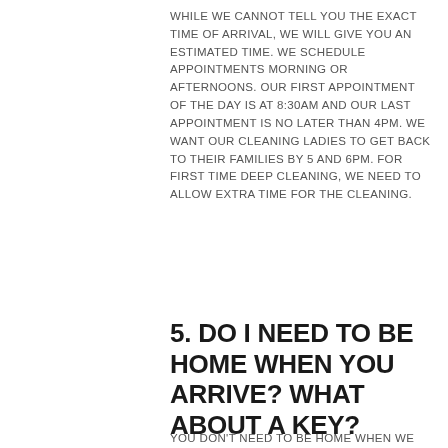WHILE WE CANNOT TELL YOU THE EXACT TIME OF ARRIVAL, WE WILL GIVE YOU AN ESTIMATED TIME. WE SCHEDULE APPOINTMENTS MORNING OR AFTERNOONS. OUR FIRST APPOINTMENT OF THE DAY IS AT 8:30AM AND OUR LAST APPOINTMENT IS NO LATER THAN 4PM. WE WANT OUR CLEANING LADIES TO GET BACK TO THEIR FAMILIES BY 5 AND 6PM. FOR FIRST TIME DEEP CLEANING, WE NEED TO ALLOW EXTRA TIME FOR THE CLEANING.
5. DO I NEED TO BE HOME WHEN YOU ARRIVE? WHAT ABOUT A KEY?
YOU DON'T NEED TO BE HOME WHEN WE